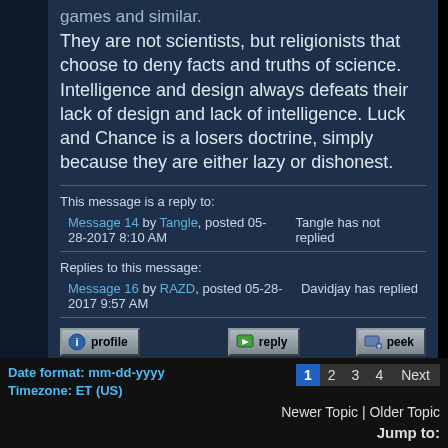They are not scientists, but religionists that choose to deny facts and truths of science. Intelligence and design always defeats their lack of design and lack of intelligence. Luck and Chance is a losers doctrine, simply because they are either lazy or dishonest.
This message is a reply to:
Message 14 by Tangle, posted 05-28-2017 8:10 AM
Tangle has not replied
Replies to this message:
Message 16 by RAZD, posted 05-28-2017 9:57 AM
Davidjay has replied
Date format: mm-dd-yyyy
Timezone: ET (US)
1 2 3 4 Next
Newer Topic | Older Topic
Jump to:
Human Origins and Evolution